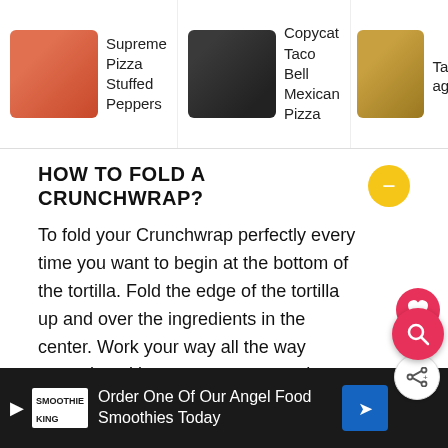[Figure (screenshot): Top navigation bar with three food article thumbnails: Supreme Pizza Stuffed Peppers, Copycat Taco Bell Mexican Pizza, and Taco (partial)]
HOW TO FOLD A CRUNCHWRAP?
To fold your Crunchwrap perfectly every time you want to begin at the bottom of the tortilla. Fold the edge of the tortilla up and over the ingredients in the center. Work your way all the way around, making sure to cover up the filling completely. If you have any openings, you can cut a piece off another tortilla and use it to cover that spot.
HOW DO I BROWN THE CRUNCHWRAPS?
When browning the Crunchwrap, have your skillet on
[Figure (screenshot): Bottom advertisement banner for Smoothie King Angel Food Smoothies]